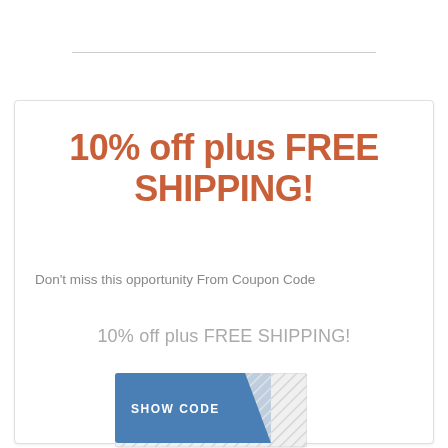10% off plus FREE SHIPPING!
Don't miss this opportunity From Coupon Code
10% off plus FREE SHIPPING!
[Figure (other): A coupon code reveal button with blue 'SHOW CODE' label and hatched pattern area, plus a hatched code box below]